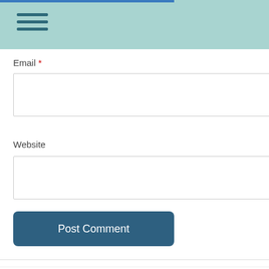Email *
Website
Post Comment
Now Available!
[Figure (illustration): Small broken/placeholder image icon]